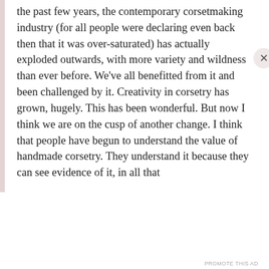the past few years, the contemporary corsetmaking industry (for all people were declaring even back then that it was over-saturated) has actually exploded outwards, with more variety and wildness than ever before. We've all benefitted from it and been challenged by it. Creativity in corsetry has grown, hugely. This has been wonderful. But now I think we are on the cusp of another change. I think that people have begun to understand the value of handmade corsetry. They understand it because they can see evidence of it, in all that
Privacy & Cookies: This site uses cookies. By continuing to use this website, you agree to their use.
To find out more, including how to control cookies, see here: Cookie Policy
Close and accept
PROMOTE THIS AD